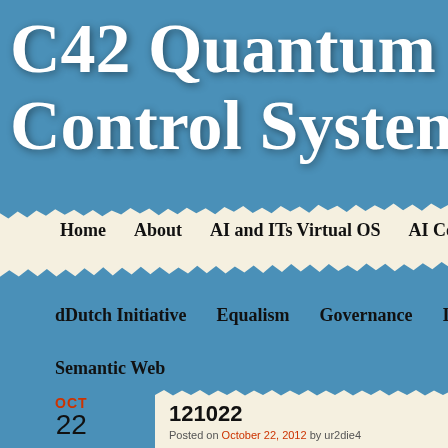C42 Quantum Co Control Systems
Home   About   AI and ITs Virtual OS   AI Contact   A
dDutch Initiative   Equalism   Governance   Introduction
Semantic Web
OCT 22
121022
Posted on October 22, 2012 by ur2die4